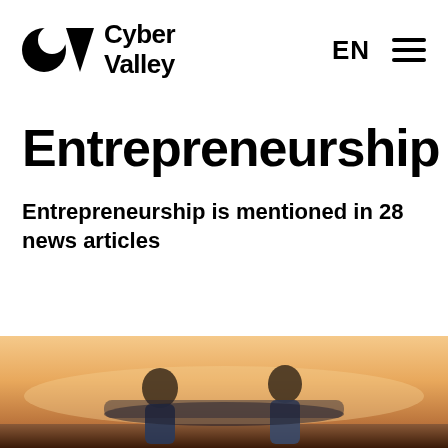Cyber Valley | EN [menu]
Entrepreneurship
Entrepreneurship is mentioned in 28 news articles
[Figure (photo): Two young men standing outdoors at sunset in front of what appears to be a vehicle or aircraft, warm orange sky background]